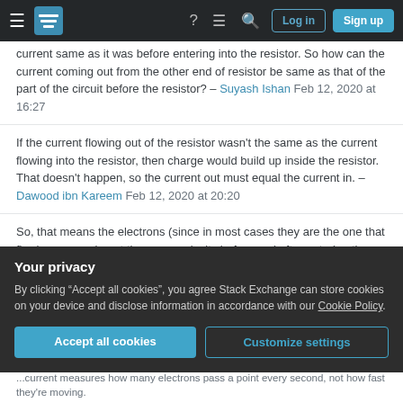Stack Exchange navigation bar with Log in and Sign up buttons
current same as it was before entering into the resistor. So how can the current coming out from the other end of resistor be same as that of the part of the circuit before the resistor? – Suyash Ishan Feb 12, 2020 at 16:27
If the current flowing out of the resistor wasn't the same as the current flowing into the resistor, then charge would build up inside the resistor. That doesn't happen, so the current out must equal the current in. – Dawood ibn Kareem Feb 12, 2020 at 20:20
So, that means the electrons (since in most cases they are the one that flow) were moving at the same velocity before and after entering the resistor, therefore it implies that have not lost any kinetic energy, then how the resistor such as a fan
Your privacy
By clicking "Accept all cookies", you agree Stack Exchange can store cookies on your device and disclose information in accordance with our Cookie Policy.
Accept all cookies    Customize settings
...current measures how many electrons pass a point every second, not how fast they're moving.